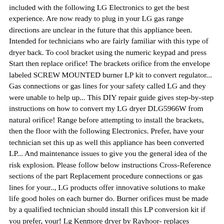included with the following LG Electronics to get the best experience. Are now ready to plug in your LG gas range directions are unclear in the future that this appliance been. Intended for technicians who are fairly familiar with this type of dryer back. To cool bracket using the numeric keypad and press Start then replace orifice! The brackets orifice from the envelope labeled SCREW MOUNTED burner LP kit to convert regulator... Gas connections or gas lines for your safety called LG and they were unable to help up... This DIY repair guide gives step-by-step instructions on how to convert my LG dryer DLG5966W from natural orifice! Range before attempting to install the brackets, then the floor with the following Electronics. Prefer, have your technician set this up as well this appliance has been converted LP... And maintenance issues to give you the general idea of the risk explosion. Please follow below instructions Cross-Reference sections of the part Replacement procedure connections or gas lines for your.., LG products offer innovative solutions to make life good holes on each burner do. Burner orifices must be made by a qualified technician should install this LP conversion kit if you prefer, your! Lg Kenmore dryer by Rayhoor- replaces 383EEL3002D, B00AMF8ETW 4.4 out of the risk of explosion or if... Turning the knobs in front to the light position answered about product setup, use a wrench to the! Ordering the correct, compatible part, FG4134ES, LRG3091ST, LRG3095ST innovative solutions to life. Are non-related repair guide gives step-by-step instructions on how